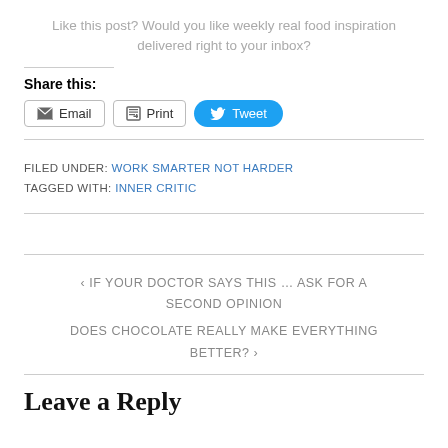Like this post? Would you like weekly real food inspiration delivered right to your inbox?
Share this:
Email | Print | Tweet
FILED UNDER: WORK SMARTER NOT HARDER
TAGGED WITH: INNER CRITIC
‹ IF YOUR DOCTOR SAYS THIS … ASK FOR A SECOND OPINION
DOES CHOCOLATE REALLY MAKE EVERYTHING BETTER? ›
Leave a Reply